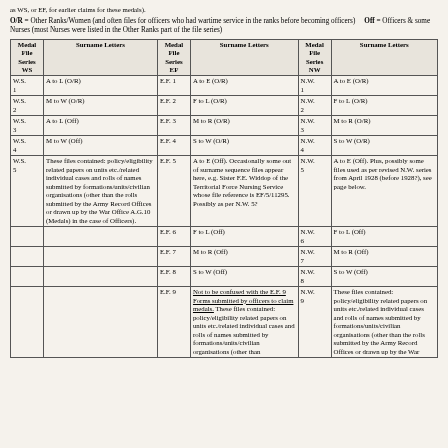as WS, or EF, for earlier claims for these medals).
O/R = Other Ranks/Women (and often files for officers who had wartime service in the ranks before becoming officers)   Off = Officers & some Nurses (most Nurses were listed in the Other Ranks part of the file series)
| Medal File Series WS | Surname Letters | Medal File Series EF | Surname Letters | Medal File Series NW | Surname Letters |
| --- | --- | --- | --- | --- | --- |
| W.S. 1 | A to L (O/R) | E.F. 1 | A to E (O/R) | N.W. 1 | A to E (O/R) |
| W.S. 2 | M to W (O/R) | E.F. 2 | F to L (O/R) | N.W. 2 | F to L (O/R) |
| W.S. 3 | A to L (Off) | E.F. 3 | M to R (O/R) | N.W. 3 | M to R (O/R) |
| W.S. 4 | M to W (Off) | E.F. 4 | S to W (O/R) | N.W. 4 | S to W (O/R) |
| W.S. 5 | These files contained: policy/eligibility related papers on units etc./related individual cases and rolls of names submitted by formations/units/civilian organisations (other than the rolls submitted by the Army Record Offices or drawn up by the War Office A.G.10 (Medals) in the case of Officers). | E.F. 5 | A to E (Off). Occasionally some out of surname sequence files appear here, e.g. Sister F.E. Widdop of the Territorial Force Nursing Service whose file reference is EF/5/11295. Possibly as per N.W. 5? | N.W. 5 | A to E (Off). Plus, possibly some files used as per revised N.W. series from April 1928 (before 1928?), see page below. |
|  |  | E.F. 6 | F to L (Off) | N.W. 6 | F to L (Off) |
|  |  | E.F. 7 | M to R (Off) | N.W. 7 | M to R (Off) |
|  |  | E.F. 8 | S to W (Off) | N.W. 8 | S to W (Off) |
|  |  | E.F. 9 | Not to be confused with the E.F. 9 Forms submitted by officers to claim medals. These files contained: policy/eligibility related papers on units etc./related individual cases and rolls of names submitted by formations/units/civilian organisations (other than | N.W. 9 | These files contained: policy/eligibility related papers on units etc./related individual cases and rolls of names submitted by formations/units/civilian organisations (other than the rolls submitted by the Army Record Offices or drawn up by the War |